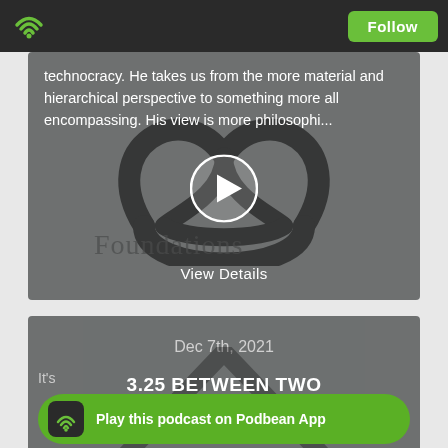Podbean app header with WiFi logo and Follow button
[Figure (screenshot): Podcast episode preview card with dark gray background showing Foundations podcast logo (triquetra/trinity knot symbol) overlaid with text about technocracy, a play button circle, and View Details link]
technocracy. He takes us from the more material and hierarchical perspective to something more all encompassing. His view is more philosophi...
View Details
Dec 7th, 2021
3.25 BETWEEN TWO
TECHNOCRACIES
It's
Play this podcast on Podbean App